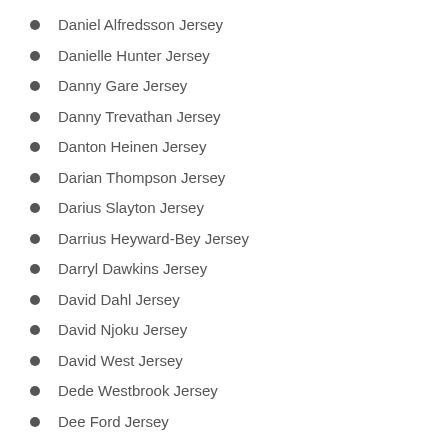Daniel Alfredsson Jersey
Danielle Hunter Jersey
Danny Gare Jersey
Danny Trevathan Jersey
Danton Heinen Jersey
Darian Thompson Jersey
Darius Slayton Jersey
Darrius Heyward-Bey Jersey
Darryl Dawkins Jersey
David Dahl Jersey
David Njoku Jersey
David West Jersey
Dede Westbrook Jersey
Dee Ford Jersey